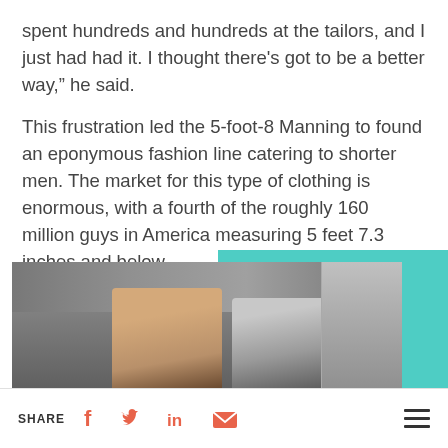spent hundreds and hundreds at the tailors, and I just had had it. I thought there's got to be a better way," he said.
This frustration led the 5-foot-8 Manning to found an eponymous fashion line catering to shorter men. The market for this type of clothing is enormous, with a fourth of the roughly 160 million guys in America measuring 5 feet 7.3 inches and below.
[Figure (photo): Two men smiling in what appears to be a workshop or studio space, with shelving and equipment visible in the background. A teal/turquoise decorative block appears in the upper right of the image area.]
SHARE [Facebook] [Twitter] [LinkedIn] [Email] [Menu]